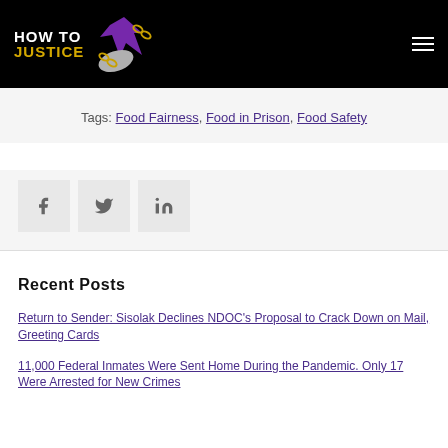HOW TO JUSTICE
Tags: Food Fairness, Food in Prison, Food Safety
[Figure (other): Social share buttons: Facebook, Twitter, LinkedIn]
Recent Posts
Return to Sender: Sisolak Declines NDOC's Proposal to Crack Down on Mail, Greeting Cards
11,000 Federal Inmates Were Sent Home During the Pandemic. Only 17 Were Arrested for New Crimes